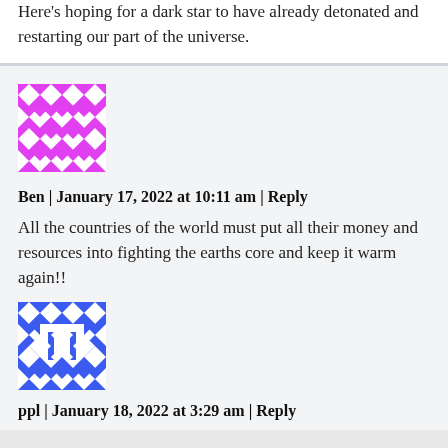Here's hoping for a dark star to have already detonated and restarting our part of the universe.
[Figure (illustration): Magenta/pink geometric quilt-pattern avatar for user Ben]
Ben | January 17, 2022 at 10:11 am | Reply
All the countries of the world must put all their money and resources into fighting the earths core and keep it warm again!!
[Figure (illustration): Blue geometric quilt-pattern avatar for user ppl]
ppl | January 18, 2022 at 3:29 am | Reply